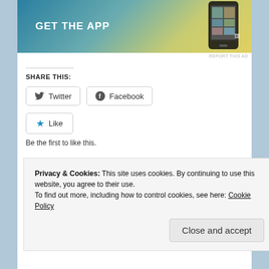[Figure (screenshot): App advertisement banner with 'GET THE APP' text on teal/yellow gradient background with phone image]
REPORT THIS AD
SHARE THIS:
Twitter
Facebook
Like
Be the first to like this.
RELATED
The VIP Experience:
VIP Packages Available for
Privacy & Cookies: This site uses cookies. By continuing to use this website, you agree to their use.
To find out more, including how to control cookies, see here: Cookie Policy
Close and accept